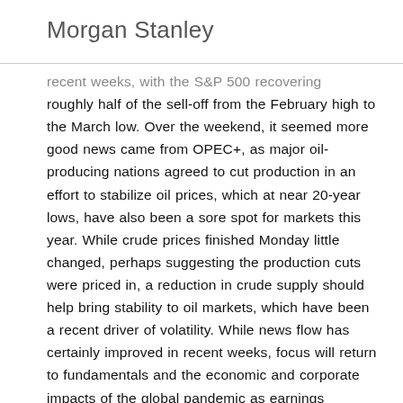Morgan Stanley
recent weeks, with the S&P 500 recovering roughly half of the sell-off from the February high to the March low. Over the weekend, it seemed more good news came from OPEC+, as major oil-producing nations agreed to cut production in an effort to stabilize oil prices, which at near 20-year lows, have also been a sore spot for markets this year. While crude prices finished Monday little changed, perhaps suggesting the production cuts were priced in, a reduction in crude supply should help bring stability to oil markets, which have been a recent driver of volatility. While news flow has certainly improved in recent weeks, focus will return to fundamentals and the economic and corporate impacts of the global pandemic as earnings